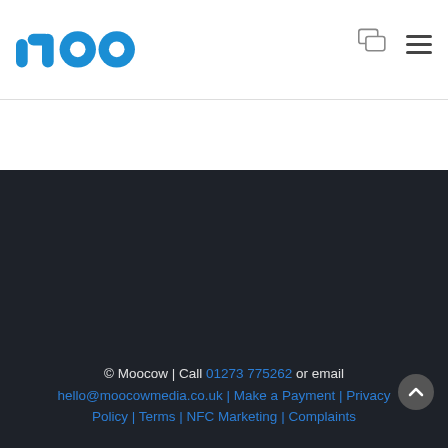[Figure (logo): Moo (Moocow Media) logo in blue on white header]
© Moocow | Call 01273 775262 or email hello@moocowmedia.co.uk | Make a Payment | Privacy Policy | Terms | NFC Marketing | Complaints